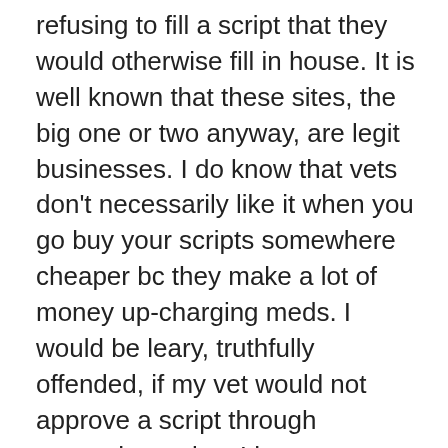refusing to fill a script that they would otherwise fill in house. It is well known that these sites, the big one or two anyway, are legit businesses. I do know that vets don't necessarily like it when you go buy your scripts somewhere cheaper bc they make a lot of money up-charging meds. I would be leary, truthfully offended, if my vet would not approve a script through somewhere else. I have never heard of it, it's not moral practice in my opinion. It is the exact equivalent of you going to your doctor and him insisting that you buy his up-charged meds from his office, instead of going to a pharmacy that sells them cheaper. Shout, there's probably a law against it. I would find myself a new vet. If you like your vet a lot and its worth it, then just be aware. good luck! BTW, I have split doses of frontline on hundreds of animals.